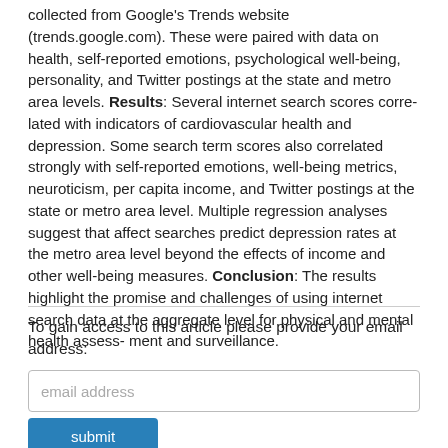collected from Google's Trends website (trends.google.com). These were paired with data on health, self-reported emotions, psychological well-being, personality, and Twitter postings at the state and metro area levels. Results: Several internet search scores corre- lated with indicators of cardiovascular health and depression. Some search term scores also correlated strongly with self-reported emotions, well-being metrics, neuroticism, per capita income, and Twitter postings at the state or metro area level. Multiple regression analyses suggest that affect searches predict depression rates at the metro area level beyond the effects of income and other well-being measures. Conclusion: The results highlight the promise and challenges of using internet search data at the aggregate level for physical and mental health assess- ment and surveillance.
To gain access to this article please provide your email address: